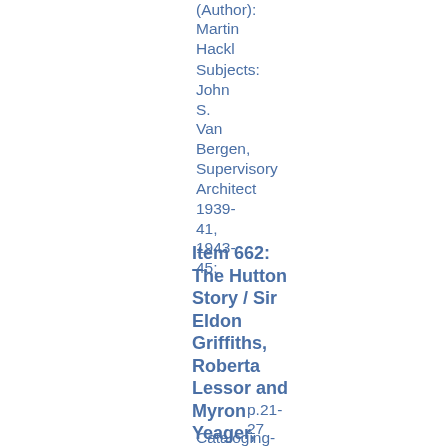(Author): Martin Hackl
Subjects: John S. Van Bergen, Supervisory Architect 1939-41, 1943-45;
Item 662: The Hutton Story / Sir Eldon Griffiths, Roberta Lessor and Myron Yeager, 1998
p.21-27
Cataloging-